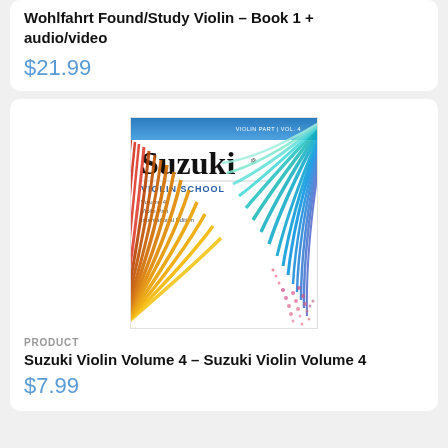Wohlfahrt Found/Study Violin - Book 1 + audio/video
$21.99
[Figure (photo): Book cover of Suzuki Violin School Volume 4, Violin Part, International Edition. White cover with colorful spiral/fan patterns in yellow, orange, blue, teal, and pink/red tones.]
PRODUCT
Suzuki Violin Volume 4 - Suzuki Violin Volume 4
$7.99